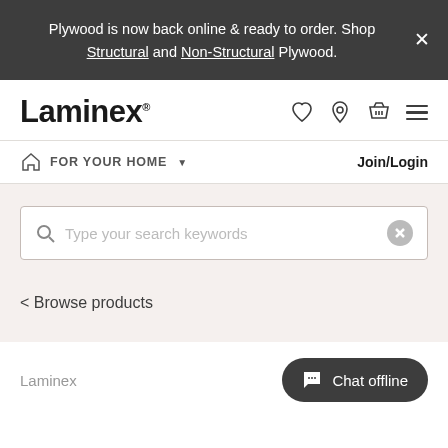Plywood is now back online & ready to order. Shop Structural and Non-Structural Plywood.
[Figure (screenshot): Laminex website header with logo, navigation icons (heart, location, basket, menu), FOR YOUR HOME dropdown, Join/Login link, search bar with placeholder 'Type your search keywords', Browse products link, and Chat offline button]
< Browse products
Laminex
Chat offline